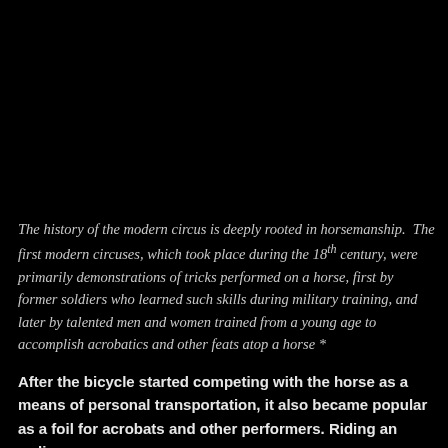The history of the modern circus is deeply rooted in horsemanship.  The first modern circuses, which took place during the 18th century, were primarily demonstrations of tricks performed on a horse, first by former soldiers who learned such skills during military training, and later by talented men and women trained from a young age to accomplish acrobatics and other feats atop a horse *
After the bicycle started competing with the horse as a means of personal transportation, it also became popular as a foil for acrobats and other performers. Riding an ordinary